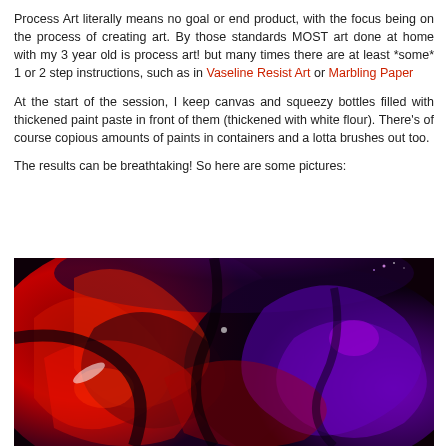Process Art literally means no goal or end product, with the focus being on the process of creating art. By those standards MOST art done at home with my 3 year old is process art! but many times there are at least *some* 1 or 2 step instructions, such as in Vaseline Resist Art or Marbling Paper
At the start of the session, I keep canvas and squeezy bottles filled with thickened paint paste in front of them (thickened with white flour). There’s of course copious amounts of paints in containers and a lotta brushes out too.
The results can be breathtaking! So here are some pictures:
[Figure (photo): Abstract process art painting with swirling reds, purples, and blacks on canvas, resembling fluid pour painting]